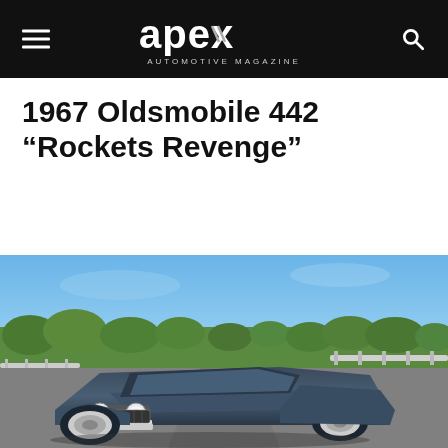APEX AUTOMOTIVE MAGAZINE
1967 Oldsmobile 442 “Rockets Revenge”
[Figure (photo): A 1967 Oldsmobile 442 muscle car in dark blue/grey driving on a highway road, photographed from the front-left angle. Clear blue sky and green trees in the background. The car has round headlights, chrome front bumper, and custom wheels.]